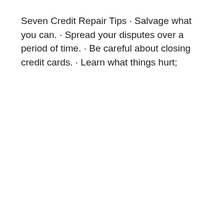Seven Credit Repair Tips · Salvage what you can. · Spread your disputes over a period of time. · Be careful about closing credit cards. · Learn what things hurt;